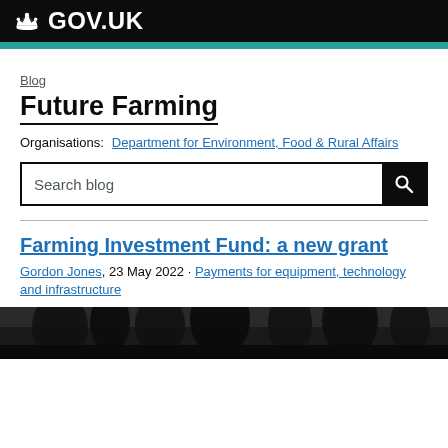GOV.UK
Blog
Future Farming
Organisations: Department for Environment, Food & Rural Affairs
Search blog
Farming Investment Fund: a new grant
Gordon Jones, 23 May 2022 · Payments for equipment, technology and infrastructure
[Figure (photo): Black and white photograph of trees, partially visible at the bottom of the page]